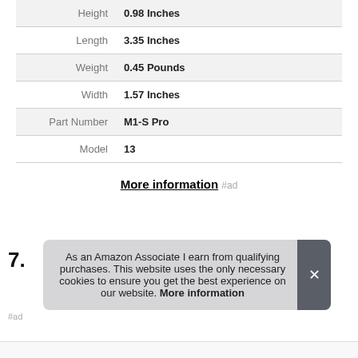| Height | 0.98 Inches |
| Length | 3.35 Inches |
| Weight | 0.45 Pounds |
| Width | 1.57 Inches |
| Part Number | M1-S Pro |
| Model | 13 |
More information #ad
7.
As an Amazon Associate I earn from qualifying purchases. This website uses the only necessary cookies to ensure you get the best experience on our website. More information
#ad